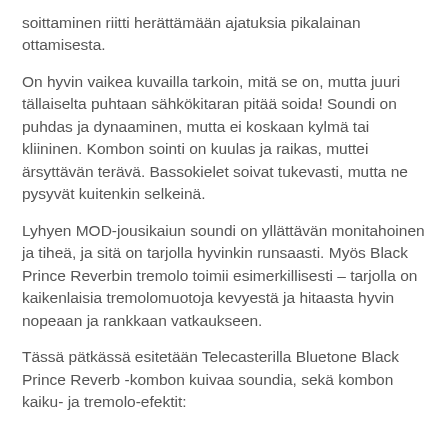soittaminen riitti herättämään ajatuksia pikalainan ottamisesta.
On hyvin vaikea kuvailla tarkoin, mitä se on, mutta juuri tällaiselta puhtaan sähkökitaran pitää soida! Soundi on puhdas ja dynaaminen, mutta ei koskaan kylmä tai kliininen. Kombon sointi on kuulas ja raikas, muttei ärsyttävän terävä. Bassokielet soivat tukevasti, mutta ne pysyvät kuitenkin selkeinä.
Lyhyen MOD-jousikaiun soundi on yllättävän monitahoinen ja tiheä, ja sitä on tarjolla hyvinkin runsaasti. Myös Black Prince Reverbin tremolo toimii esimerkillisesti – tarjolla on kaikenlaisia tremolomuotoja kevyestä ja hitaasta hyvin nopeaan ja rankkaan vatkaukseen.
Tässä pätkässä esitetään Telecasterilla Bluetone Black Prince Reverb -kombon kuivaa soundia, sekä kombon kaiku- ja tremolo-efektit: